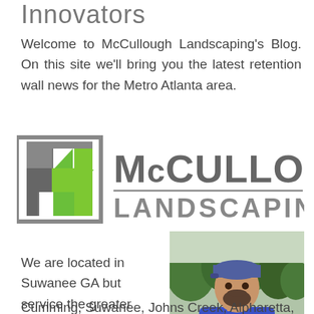Innovators
Welcome to McCullough Landscaping's Blog. On this site we'll bring you the latest retention wall news for the Metro Atlanta area.
[Figure (logo): McCullough Landscaping logo with stylized M icon in gray and green, and text 'McCullough Landscaping']
[Figure (photo): Man in blue t-shirt and cap standing with arms crossed outdoors near green shrubs]
We are located in Suwanee GA but service the greater Metro Atlanta area. Most services are provided in Cumming, Suwanee, Johns Creek, Alpharetta, Sugar